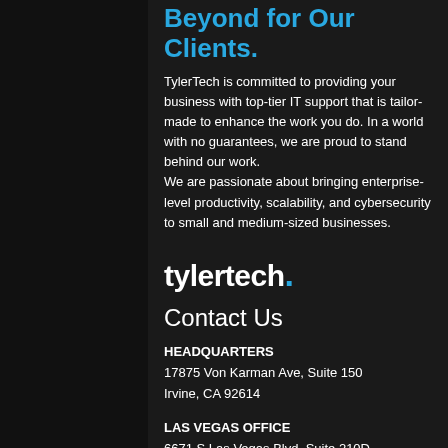Beyond for Our Clients.
TylerTech is committed to providing your business with top-tier IT support that is tailor-made to enhance the work you do. In a world with no guarantees, we are proud to stand behind our work.
We are passionate about bringing enterprise-level productivity, scalability, and cybersecurity to small and medium-sized businesses.
[Figure (logo): TylerTech logo — wordmark 'tylertech' in white bold text with a blue dot after the 'h']
Contact Us
HEADQUARTERS
17875 Von Karman Ave, Suite 150
Irvine, CA 92614
LAS VEGAS OFFICE
6671 S Las Vegas Blvd, Suite 210D
Las Vegas, NV 89119